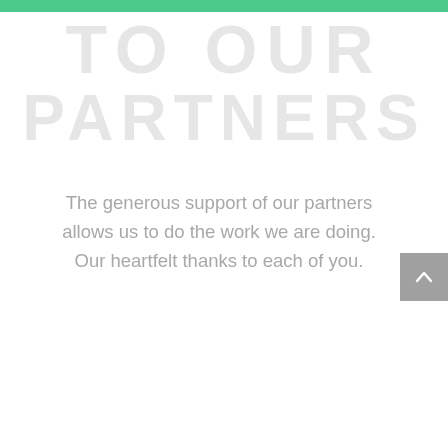[Figure (other): Green horizontal bar at the top of the page]
TO OUR PARTNERS
The generous support of our partners allows us to do the work we are doing. Our heartfelt thanks to each of you.
[Figure (other): Gray scroll-to-top button with upward chevron arrow, positioned at right edge]